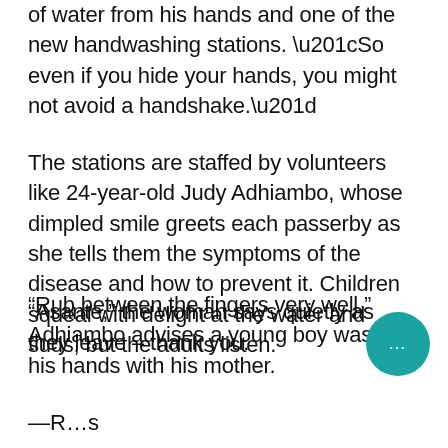explained auditor Emmanuel Sima, shaking drops of water from his hands and one of the new handwashing stations. “So even if you hide your hands, you might not avoid a handshake.”
The stations are staffed by volunteers like 24-year-old Judy Adhiambo, whose dimpled smile greets each passerby as she tells them the symptoms of the disease and how to prevent it. Children squeal with delight at the water and suds, but the adults listen.
“Rub between the fingers very well,” Adhiambo advises a young boy washing his hands with his mother.
“Asante,” the woman says quietly as they leave – thank you.
—R…s